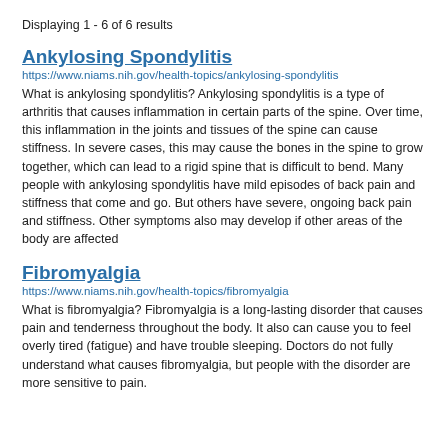Displaying 1 - 6 of 6 results
Ankylosing Spondylitis
https://www.niams.nih.gov/health-topics/ankylosing-spondylitis
What is ankylosing spondylitis? Ankylosing spondylitis is a type of arthritis that causes inflammation in certain parts of the spine. Over time, this inflammation in the joints and tissues of the spine can cause stiffness. In severe cases, this may cause the bones in the spine to grow together, which can lead to a rigid spine that is difficult to bend. Many people with ankylosing spondylitis have mild episodes of back pain and stiffness that come and go. But others have severe, ongoing back pain and stiffness. Other symptoms also may develop if other areas of the body are affected
Fibromyalgia
https://www.niams.nih.gov/health-topics/fibromyalgia
What is fibromyalgia? Fibromyalgia is a long-lasting disorder that causes pain and tenderness throughout the body. It also can cause you to feel overly tired (fatigue) and have trouble sleeping. Doctors do not fully understand what causes fibromyalgia, but people with the disorder are more sensitive to pain.